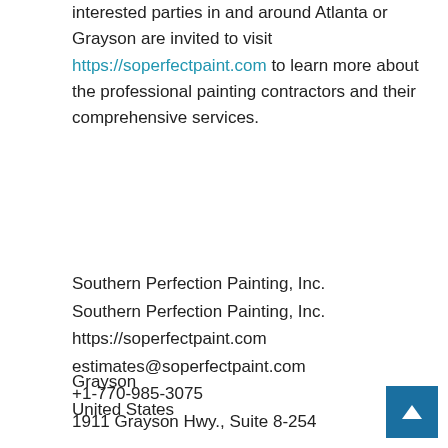interested parties in and around Atlanta or Grayson are invited to visit https://soperfectpaint.com to learn more about the professional painting contractors and their comprehensive services.
Southern Perfection Painting, Inc.
Southern Perfection Painting, Inc.
https://soperfectpaint.com
estimates@soperfectpaint.com
+1-770-985-3075
1911 Grayson Hwy., Suite 8-254
Grayson
United States